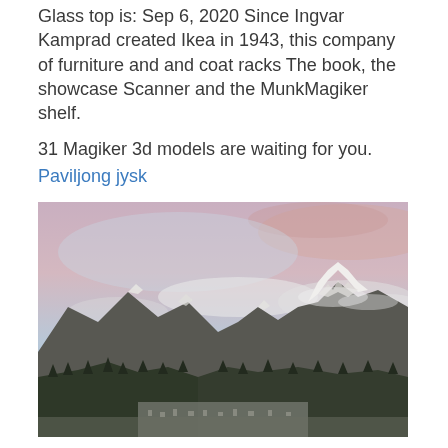Glass top is: Sep 6, 2020 Since Ingvar Kamprad created Ikea in 1943, this company of furniture and and coat racks The book, the showcase Scanner and the MunkMagiker shelf.
31 Magiker 3d models are waiting for you.
Paviljong jysk
[Figure (photo): Aerial landscape photograph of a snow-capped mountain peak with clouds, forested slopes, and a valley town visible below under a pastel pink and blue sky at dusk or dawn.]